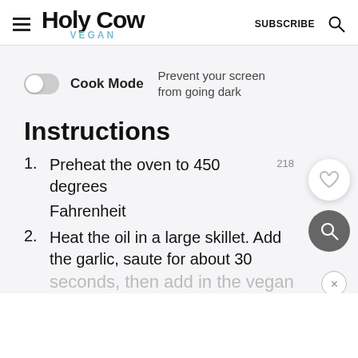Holy Cow Vegan — SUBSCRIBE
Cook Mode — Prevent your screen from going dark
Instructions
1. Preheat the oven to 450 degrees Fahrenheit
2. Heat the oil in a large skillet. Add the garlic, saute for about 30 seconds, then add in the vegan sausage. Cook, stirring, 2-3